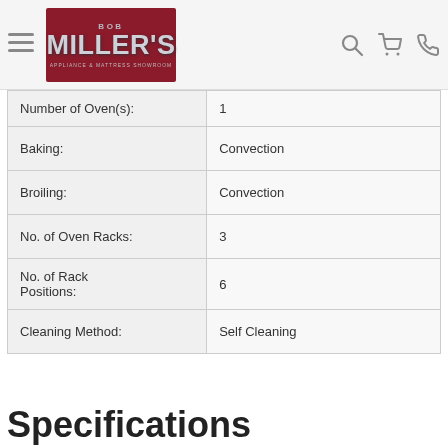[Figure (logo): Bob Miller's Appliance & Mattress Showroom logo with dark red background and silver lettering]
| Number of Oven(s): | 1 |
| Baking: | Convection |
| Broiling: | Convection |
| No. of Oven Racks: | 3 |
| No. of Rack Positions: | 6 |
| Cleaning Method: | Self Cleaning |
Specifications